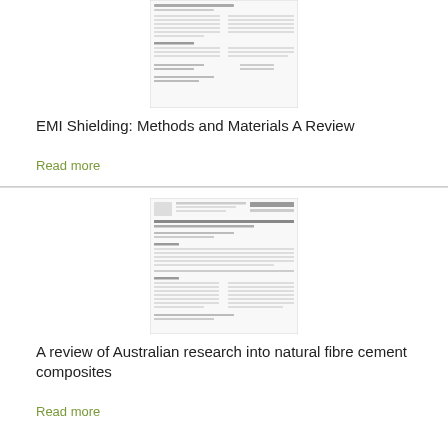[Figure (screenshot): Thumbnail of academic paper page for EMI Shielding: Methods and Materials A Review]
EMI Shielding: Methods and Materials A Review
Read more
[Figure (screenshot): Thumbnail of academic paper page for A review of Australian research into natural fibre cement composites]
A review of Australian research into natural fibre cement composites
Read more